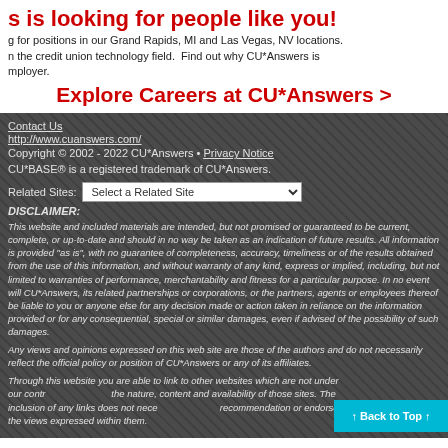s is looking for people like you!
g for positions in our Grand Rapids, MI and Las Vegas, NV locations.
n the credit union technology field.  Find out why CU*Answers is
mployer.
Explore Careers at CU*Answers >
Contact Us
http://www.cuanswers.com/
Copyright © 2002 - 2022 CU*Answers • Privacy Notice
CU*BASE® is a registered trademark of CU*Answers.
Related Sites: Select a Related Site
DISCLAIMER:
This website and included materials are intended, but not promised or guaranteed to be current, complete, or up-to-date and should in no way be taken as an indication of future results. All information is provided "as is", with no guarantee of completeness, accuracy, timeliness or of the results obtained from the use of this information, and without warranty of any kind, express or implied, including, but not limited to warranties of performance, merchantability and fitness for a particular purpose. In no event will CU*Answers, its related partnerships or corporations, or the partners, agents or employees thereof be liable to you or anyone else for any decision made or action taken in reliance on the information provided or for any consequential, special or similar damages, even if advised of the possibility of such damages.
Any views and opinions expressed on this web site are those of the authors and do not necessarily reflect the official policy or position of CU*Answers or any of its affiliates.
Through this website you are able to link to other websites which are not under our control. We have no control over the nature, content and availability of those sites. The inclusion of any links does not necessarily imply a recommendation or endorse the views expressed within them.
↑ Back to Top ↑